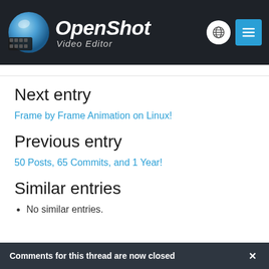[Figure (logo): OpenShot Video Editor logo with globe/film reel icon and text]
Next entry
Frame by Frame Animation on Linux!
Previous entry
50 Posts, 65 Commits, and 1 Year!
Similar entries
No similar entries.
Comments for this thread are now closed